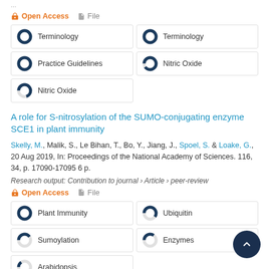...
Open Access   File
100% Terminology
100% Terminology
100% Practice Guidelines
90% Nitric Oxide
70% Nitric Oxide
A role for S-nitrosylation of the SUMO-conjugating enzyme SCE1 in plant immunity
Skelly, M., Malik, S., Le Bihan, T., Bo, Y., Jiang, J., Spoel, S. & Loake, G., 20 Aug 2019, In: Proceedings of the National Academy of Sciences. 116, 34, p. 17090-17095 6 p.
Research output: Contribution to journal › Article › peer-review
Open Access   File
100% Plant Immunity
60% Ubiquitin
40% Sumoylation
35% Enzymes
15% Arabidopsis